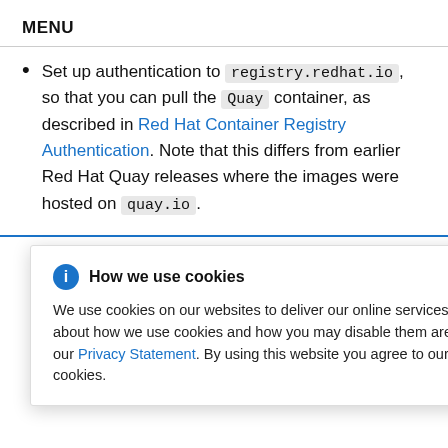MENU
Set up authentication to registry.redhat.io, so that you can pull the Quay container, as described in Red Hat Container Registry Authentication. Note that this differs from earlier Red Hat Quay releases where the images were hosted on quay.io.
e following
How we use cookies
We use cookies on our websites to deliver our online services. Details about how we use cookies and how you may disable them are set out in our Privacy Statement. By using this website you agree to our use of cookies.
hat.io